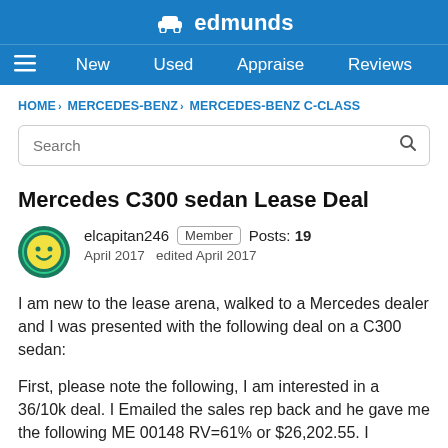edmunds
New   Used   Appraise   Reviews
HOME › MERCEDES-BENZ › MERCEDES-BENZ C-CLASS
Mercedes C300 sedan Lease Deal
elcapitan246  Member  Posts: 19
April 2017  edited April 2017
I am new to the lease arena, walked to a Mercedes dealer and I was presented with the following deal on a C300 sedan:
First, please note the following, I am interested in a 36/10k deal. I Emailed the sales rep back and he gave me the following ME 00148 RV=61% or $26,202.55. I